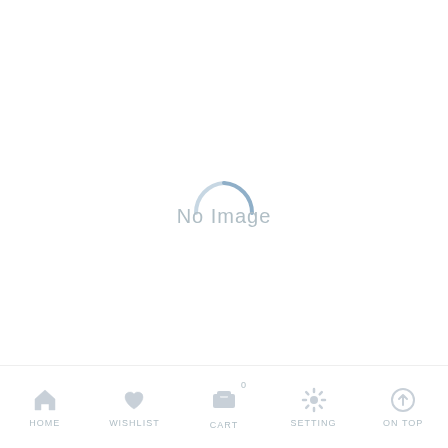[Figure (screenshot): Loading spinner and 'No Image' text centered on a white background, representing a loading state in a mobile app]
HOME   WISHLIST   CART 0   SETTING   ON TOP